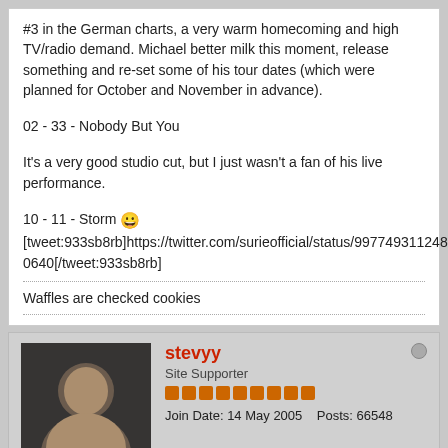#3 in the German charts, a very warm homecoming and high TV/radio demand. Michael better milk this moment, release something and re-set some of his tour dates (which were planned for October and November in advance).
02 - 33 - Nobody But You
It's a very good studio cut, but I just wasn't a fan of his live performance.
10 - 11 - Storm 😀 [tweet:933sb8rb]https://twitter.com/surieofficial/status/9977493112482400640[/tweet:933sb8rb]
Waffles are checked cookies
stevyy
Site Supporter
Join Date: 14 May 2005    Posts: 66548
Wed May 23, 2018, 10:27
#4441